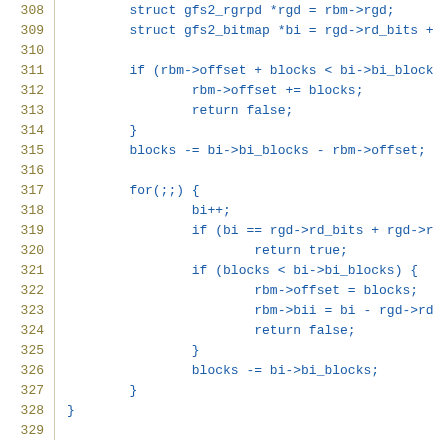[Figure (screenshot): Source code snippet showing C code lines 308-329 with line numbers in olive/gold color on the left and code in blue on a white background. Code shows gfs2 bitmap block management logic with struct declarations, if conditions, for loop, and return statements.]